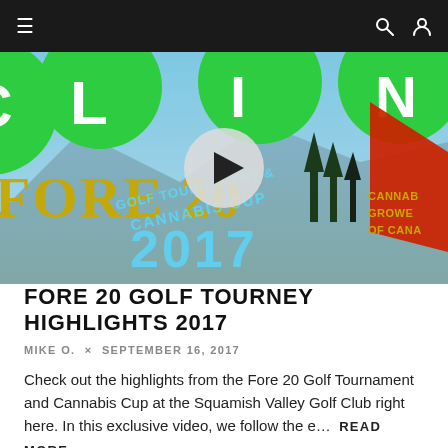≡  🔍  👤
[Figure (photo): Video thumbnail showing the Fore 20 Golf Tournament and Cannabis Cup 2017 promotional signage with green cannabis leaf logos, gold text reading FORE 20 GOLF TOURNAMENT & CANNABIS CUP 2017, a red flag, and a play button overlay in the center.]
FORE 20 GOLF TOURNEY HIGHLIGHTS 2017
MIKE O.  ×  SEPTEMBER 16, 2017
Check out the highlights from the Fore 20 Golf Tournament and Cannabis Cup at the Squamish Valley Golf Club right here. In this exclusive video, we follow the e…  READ MORE...